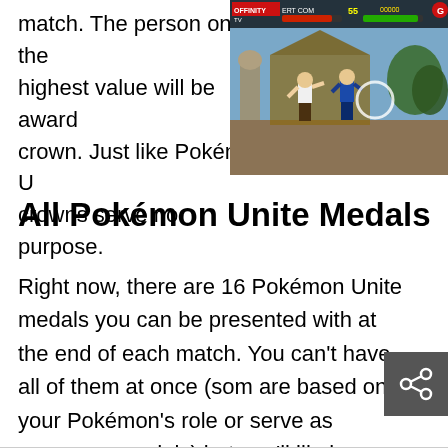match. The person on the highest value will be awarded a crown. Just like Pokémon Unite, crowns serve no purpose.
[Figure (screenshot): Screenshot of a fighting game (likely Mortal Kombat) showing two characters fighting on a stage. HUD shows health bars and score at the top. The interface has OFFINITY TV branding.]
All Pokémon Unite Medals
Right now, there are 16 Pokémon Unite medals you can be presented with at the end of each match. You can't have all of them at once (some are based on your Pokémon's role or serve as runner-up medals) but you'll likely see each and every one of them as you play more matches.